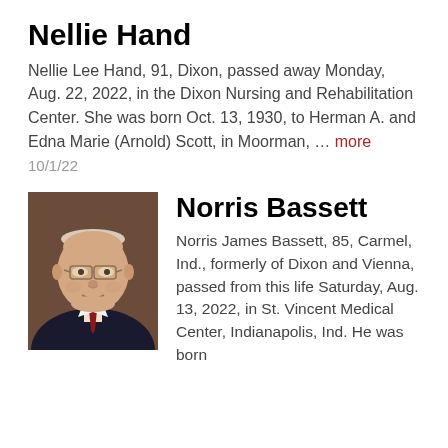Nellie Hand
Nellie Lee Hand, 91, Dixon, passed away Monday, Aug. 22, 2022, in the Dixon Nursing and Rehabilitation Center. She was born Oct. 13, 1930, to Herman A. and Edna Marie (Arnold) Scott, in Moorman, … more
10/1/22
[Figure (photo): Portrait photograph of an elderly man wearing glasses, a dark suit, and a red tie, on a dark brown background.]
Norris Bassett
Norris James Bassett, 85, Carmel, Ind., formerly of Dixon and Vienna, passed from this life Saturday, Aug. 13, 2022, in St. Vincent Medical Center, Indianapolis, Ind. He was born